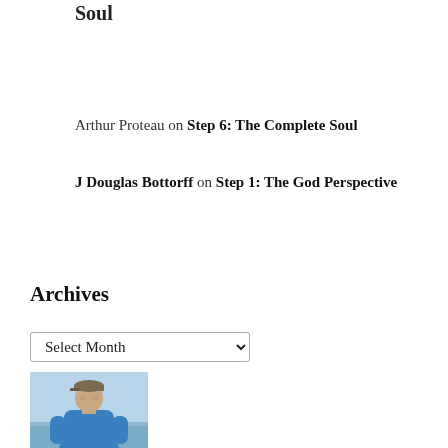Soul
Arthur Proteau on Step 6: The Complete Soul
J Douglas Bottorff on Step 1: The God Perspective
Archives
[Figure (other): A dropdown/select widget labeled 'Select Month']
[Figure (photo): A man wearing a cap and blue hoodie standing outdoors near water with a light blue sky background]